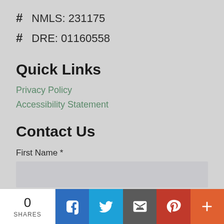# NMLS: 231175
# DRE: 01160558
Quick Links
Privacy Policy
Accessibility Statement
Contact Us
First Name *
Last Name *
0 SHARES | Facebook | Twitter | Email | Pinterest | More